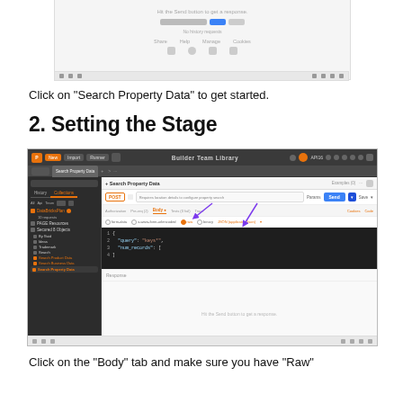[Figure (screenshot): Postman interface screenshot showing top portion of API tool, truncated at top of page]
Click on "Search Property Data" to get started.
2. Setting the Stage
[Figure (screenshot): Postman API tool screenshot showing Search Property Data endpoint with Body tab selected, raw/JSON options, code editor with query structure, two purple arrows pointing to Body tab and raw option, and Response area at bottom]
Click on the "Body" tab and make sure you have "Raw"